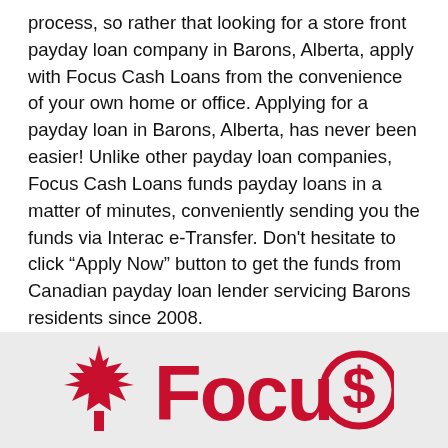process, so rather that looking for a store front payday loan company in Barons, Alberta, apply with Focus Cash Loans from the convenience of your own home or office. Applying for a payday loan in Barons, Alberta, has never been easier! Unlike other payday loan companies, Focus Cash Loans funds payday loans in a matter of minutes, conveniently sending you the funds via Interac e-Transfer. Don't hesitate to click “Apply Now” button to get the funds from Canadian payday loan lender servicing Barons residents since 2008.
Payday loan services in cities & town nearby: Payday Loans Airdrie Alberta, Payday Loans Arrowwood Alberta, Payday Loans Bassano Alberta, Payday Loans Beiseker Alberta, Payday Loans Black Diamond Alberta
[Figure (logo): Focus Cash Loans logo with red maple leaf and stylized 'FocuS' text where the S is inside a dollar-sign circle]